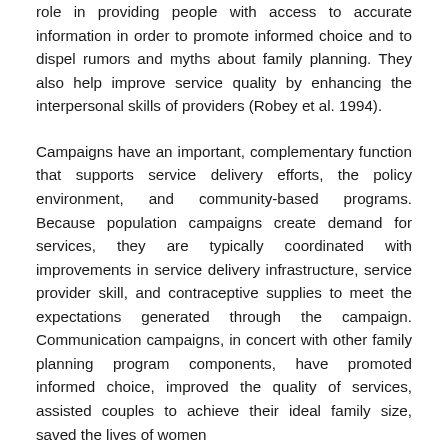role in providing people with access to accurate information in order to promote informed choice and to dispel rumors and myths about family planning. They also help improve service quality by enhancing the interpersonal skills of providers (Robey et al. 1994).
Campaigns have an important, complementary function that supports service delivery efforts, the policy environment, and community-based programs. Because population campaigns create demand for services, they are typically coordinated with improvements in service delivery infrastructure, service provider skill, and contraceptive supplies to meet the expectations generated through the campaign. Communication campaigns, in concert with other family planning program components, have promoted informed choice, improved the quality of services, assisted couples to achieve their ideal family size, saved the lives of women